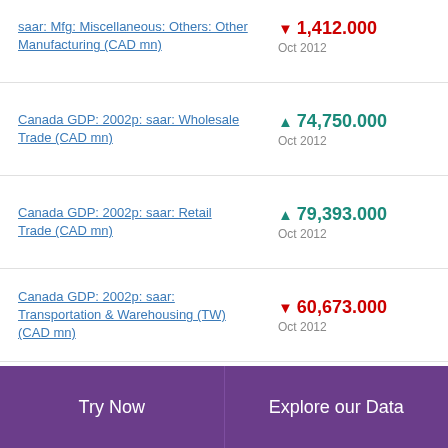saar: Mfg: Miscellaneous: Others: Other Manufacturing (CAD mn)
Canada GDP: 2002p: saar: Wholesale Trade (CAD mn)
Canada GDP: 2002p: saar: Retail Trade (CAD mn)
Canada GDP: 2002p: saar: Transportation & Warehousing (TW) (CAD mn)
Try Now   Explore our Data